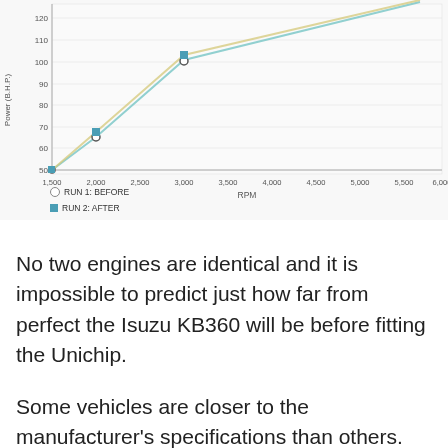[Figure (continuous-plot): Line chart showing Power (B.H.P.) vs RPM for two runs: RUN 1 BEFORE (circles, teal/green line) and RUN 2 AFTER (blue squares, blue line). Both lines rise from ~50 BHP at 1,500 RPM to ~120+ BHP approaching 6,000 RPM. RUN 2 AFTER is slightly higher than RUN 1 BEFORE. Data points marked at approximately 2,000 RPM (~65 BHP) and 3,000 RPM (~99-100 BHP).]
No two engines are identical and it is impossible to predict just how far from perfect the Isuzu KB360 will be before fitting the Unichip.
Some vehicles are closer to the manufacturer's specifications than others. Therefore, the performance results of the